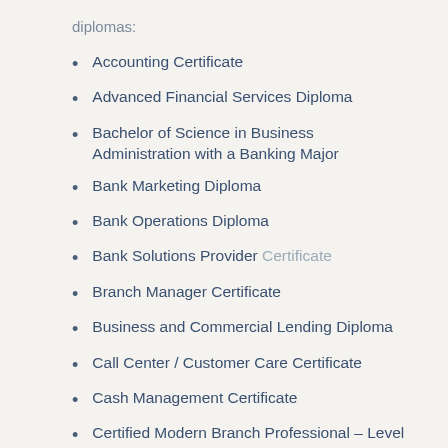diplomas:
Accounting Certificate
Advanced Financial Services Diploma
Bachelor of Science in Business Administration with a Banking Major
Bank Marketing Diploma
Bank Operations Diploma
Bank Solutions Provider Certificate
Branch Manager Certificate
Business and Commercial Lending Diploma
Call Center / Customer Care Certificate
Cash Management Certificate
Certified Modern Branch Professional – Level 1